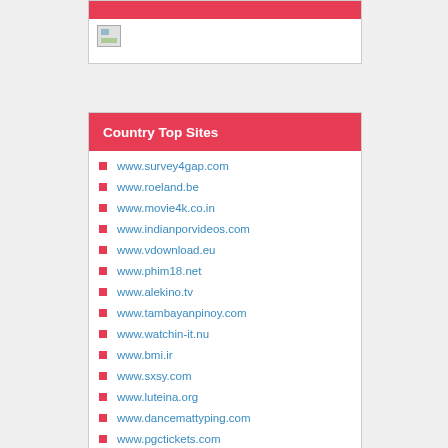[Figure (screenshot): Top box with red bar and broken image placeholder]
Country Top Sites
www.survey4gap.com
www.roeland.be
www.movie4k.co.in
www.indianporvideos.com
www.vdownload.eu
www.phim18.net
www.alekino.tv
www.tambayanpinoy.com
www.watchin-it.nu
www.bmi.ir
www.sxsy.com
www.luteina.org
www.dancemattyping.com
www.pgctickets.com